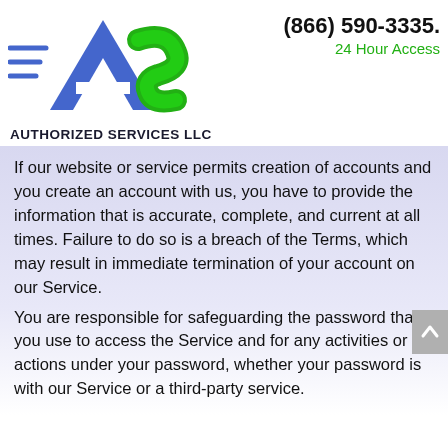[Figure (logo): Authorized Services LLC logo: blue triangle with 'A' shape and green 'S' curve, with three blue horizontal lines to the left suggesting speed/motion]
AUTHORIZED SERVICES LLC
(866) 590-3335.
24 Hour Access
If our website or service permits creation of accounts and you create an account with us, you have to provide the information that is accurate, complete, and current at all times. Failure to do so is a breach of the Terms, which may result in immediate termination of your account on our Service.
You are responsible for safeguarding the password that you use to access the Service and for any activities or actions under your password, whether your password is with our Service or a third-party service.